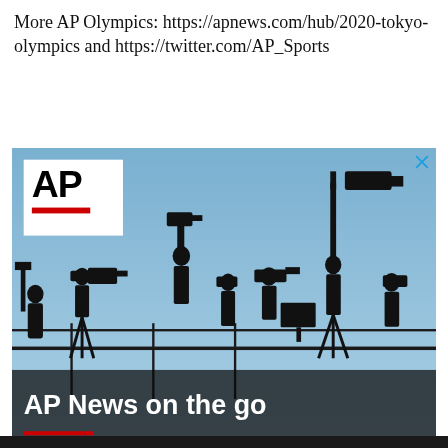More AP Olympics: https://apnews.com/hub/2020-tokyo-olympics and https://twitter.com/AP_Sports
[Figure (photo): AP News advertisement banner showing silhouettes of camera operators and journalists with equipment against a blue sky, with AP logo in white box top-left, text 'AP News on the go' and a 'DOWNLOAD NOW' button]